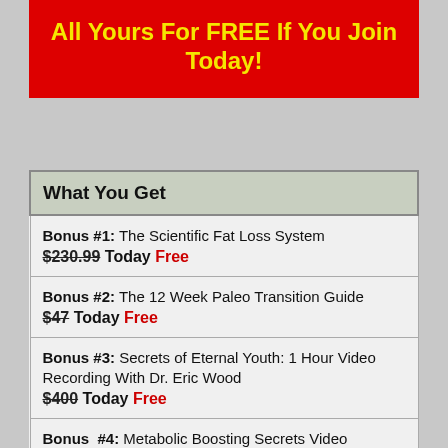All Yours For FREE If You Join Today!
| What You Get |
| --- |
| Bonus #1: The Scientific Fat Loss System
$230.99 Today Free |
| Bonus #2: The 12 Week Paleo Transition Guide
$47 Today Free |
| Bonus #3: Secrets of Eternal Youth: 1 Hour Video Recording With Dr. Eric Wood
$400 Today Free |
| Bonus #4: Metabolic Boosting Secrets Video Collection
$500 Today Free |
| Bonus #5: The 'Think Weight Away' Weight-Loss Hypnosis Course
$97 Today Free |